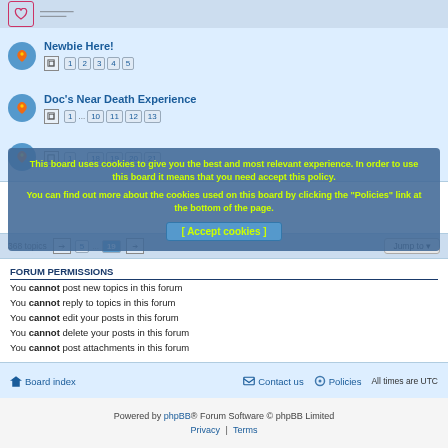[Figure (screenshot): Partial forum topic row at top with heart icon]
Newbie Here!
Doc's Near Death Experience
This board uses cookies to give you the best and most relevant experience. In order to use this board it means that you need accept this policy.
You can find out more about the cookies used on this board by clicking the "Policies" link at the bottom of the page.
[ Accept cookies ]
368 topics ... 19
FORUM PERMISSIONS
You cannot post new topics in this forum
You cannot reply to topics in this forum
You cannot edit your posts in this forum
You cannot delete your posts in this forum
You cannot post attachments in this forum
Board index   Contact us   Policies   All times are UTC
Powered by phpBB® Forum Software © phpBB Limited
Privacy | Terms